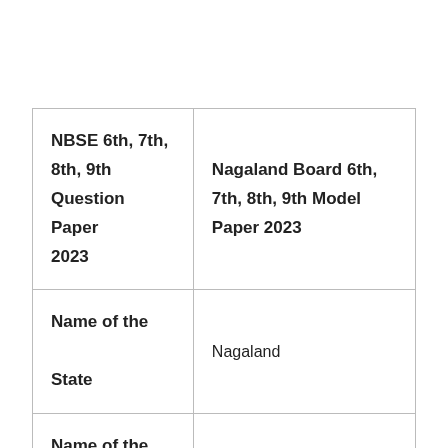| NBSE 6th, 7th, 8th, 9th Question Paper 2023 | Nagaland Board 6th, 7th, 8th, 9th Model Paper 2023 |
| Name of the State | Nagaland |
| Name of the Education Board | Nagaland Board of School Education |